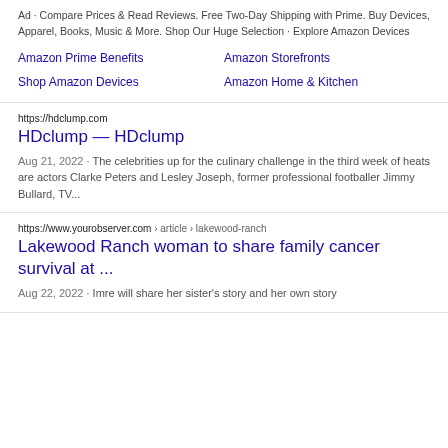Ad · Compare Prices & Read Reviews. Free Two-Day Shipping with Prime. Buy Devices, Apparel, Books, Music & More. Shop Our Huge Selection · Explore Amazon Devices
Amazon Prime Benefits
Amazon Storefronts
Shop Amazon Devices
Amazon Home & Kitchen
https://hdclump.com
HDclump — HDclump
Aug 21, 2022 · The celebrities up for the culinary challenge in the third week of heats are actors Clarke Peters and Lesley Joseph, former professional footballer Jimmy Bullard, TV...
https://www.yourobserver.com › article › lakewood-ranch
Lakewood Ranch woman to share family cancer survival at ...
Aug 22, 2022 · Imre will share her sister's story and her own story